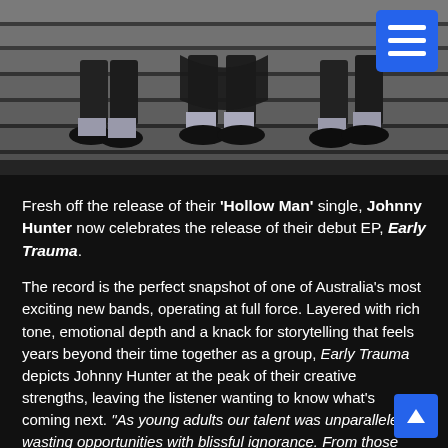[Figure (photo): Black and white photograph of people (a band) seated on concrete steps, showing their legs and feet wearing black shoes and grey socks, wearing dark clothing. A blue hamburger menu button is visible in the top right corner.]
Fresh off the release of their 'Hollow Man' single, Johnny Hunter now celebrates the release of their debut EP, Early Trauma.
The record is the perfect snapshot of one of Australia's most exciting new bands, operating at full force. Layered with rich tone, emotional depth and a knack for storytelling that feels years beyond their time together as a group, Early Trauma depicts Johnny Hunter at the peak of their creative strengths, leaving the listener wanting to know what's coming next. "As young adults our talent was unparalleled in wasting opportunities with blissful ignorance. From those decisions stemmed Early Trauma. Each song on this EP is in some way an ode to wasted youth. The energy and time spent on unimportant moments, and